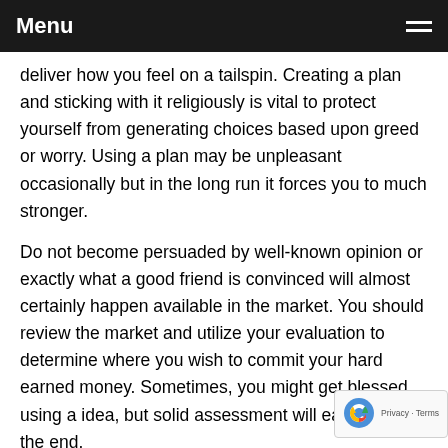Menu
deliver how you feel on a tailspin. Creating a plan and sticking with it religiously is vital to protect yourself from generating choices based upon greed or worry. Using a plan may be unpleasant occasionally but in the long run it forces you to much stronger.
Do not become persuaded by well-known opinion or exactly what a good friend is convinced will almost certainly happen available in the market. You should review the market and utilize your evaluation to determine where you wish to commit your hard earned money. Sometimes, you might get blessed using a idea, but solid assessment will earn out in the end.